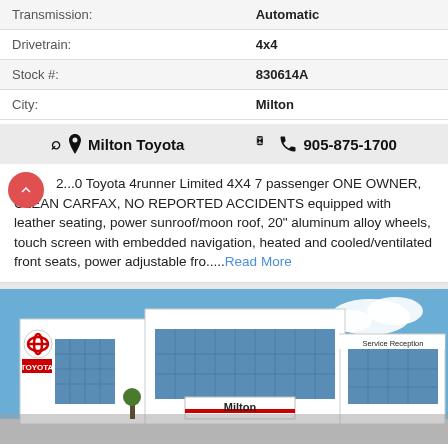| Field | Value |
| --- | --- |
| Transmission: | Automatic |
| Drivetrain: | 4x4 |
| Stock #: | 830614A |
| City: | Milton |
Milton Toyota   905-875-1700
2...0 Toyota 4runner Limited 4X4 7 passenger ONE OWNER, CLEAN CARFAX, NO REPORTED ACCIDENTS equipped with leather seating, power sunroof/moon roof, 20" aluminum alloy wheels, touch screen with embedded navigation, heated and cooled/ventilated front seats, power adjustable fro.....Read More
[Figure (photo): Exterior photo of Milton Toyota dealership building with Toyota logo, blue sky background, and Service Reception sign visible]